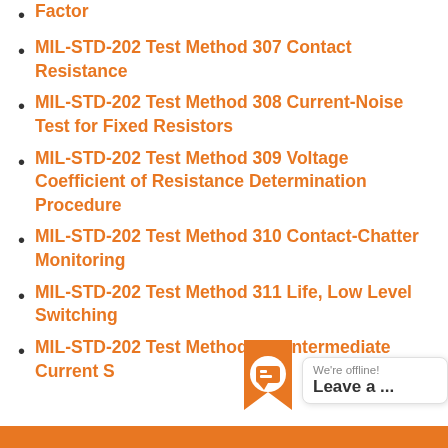Factor
MIL-STD-202 Test Method 307 Contact Resistance
MIL-STD-202 Test Method 308 Current-Noise Test for Fixed Resistors
MIL-STD-202 Test Method 309 Voltage Coefficient of Resistance Determination Procedure
MIL-STD-202 Test Method 310 Contact-Chatter Monitoring
MIL-STD-202 Test Method 311 Life, Low Level Switching
MIL-STD-202 Test Method 312 Intermediate Current S...